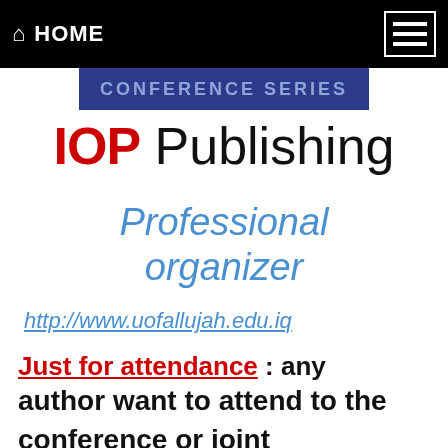HOME
[Figure (logo): IOP Publishing Conference Series banner with blue background and IOP Publishing logo]
Professional organizer
http://www.uofallujah.edu.iq
Just for attendance : any author want to attend to the conference or joint